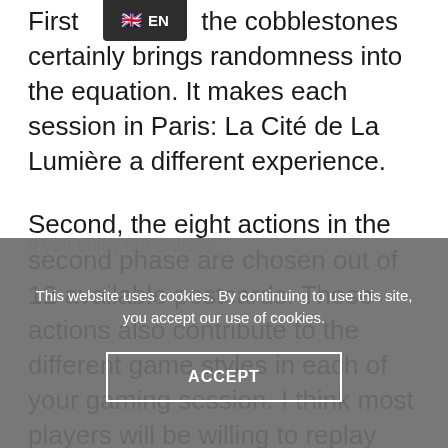First [EN] the cobblestones certainly brings randomness into the equation. It makes each session in Paris: La Cité de La Lumière a different experience.
Second, the eight actions in the second phase are chosen out of 12 available postcards. These actions also contribute to the different game styles in each of your gaming session. I think most players will be willing to replay because it is a fun game.
This website uses cookies. By continuing to use this site, you accept our use of cookies.